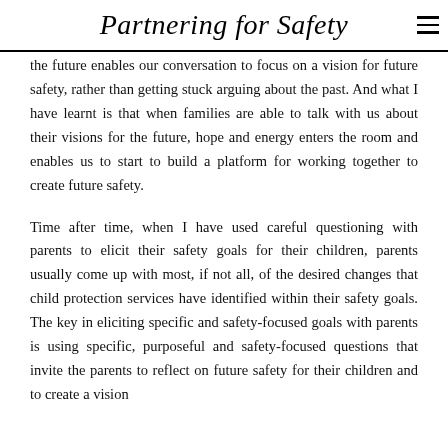Partnering for Safety
the future enables our conversation to focus on a vision for future safety, rather than getting stuck arguing about the past. And what I have learnt is that when families are able to talk with us about their visions for the future, hope and energy enters the room and enables us to start to build a platform for working together to create future safety.
Time after time, when I have used careful questioning with parents to elicit their safety goals for their children, parents usually come up with most, if not all, of the desired changes that child protection services have identified within their safety goals. The key in eliciting specific and safety-focused goals with parents is using specific, purposeful and safety-focused questions that invite the parents to reflect on future safety for their children and to create a vision